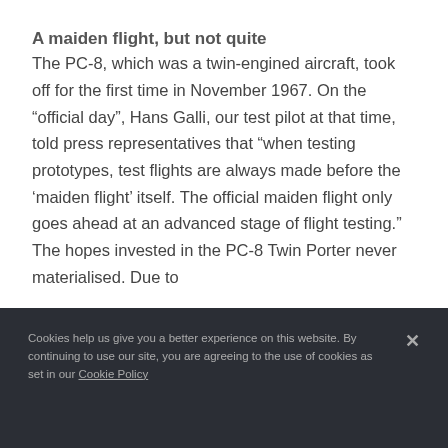A maiden flight, but not quite
The PC-8, which was a twin-engined aircraft, took off for the first time in November 1967. On the “official day”, Hans Galli, our test pilot at that time, told press representatives that “when testing prototypes, test flights are always made before the ‘maiden flight’ itself. The official maiden flight only goes ahead at an advanced stage of flight testing.” The hopes invested in the PC-8 Twin Porter never materialised. Due to
Cookies help us give you a better experience on this website. By continuing to use our site, you are agreeing to the use of cookies as set in our Cookie Policy